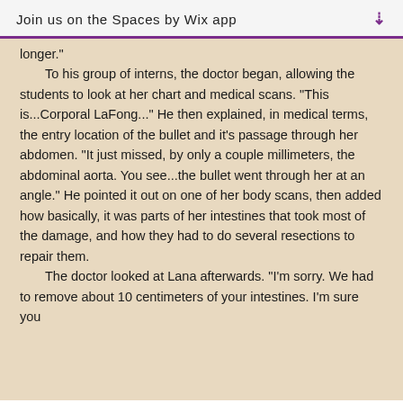Join us on the Spaces by Wix app
longer."
	To his group of interns, the doctor began, allowing the students to look at her chart and medical scans. “This is...Corporal LaFong...” He then explained, in medical terms, the entry location of the bullet and it’s passage through her abdomen. “It just missed, by only a couple millimeters, the abdominal aorta. You see...the bullet went through her at an angle.” He pointed it out on one of her body scans, then added how basically, it was parts of her intestines that took most of the damage, and how they had to do several resections to repair them.
	The doctor looked at Lana afterwards. “I’m sorry. We had to remove about 10 centimeters of your intestines. I’m sure you